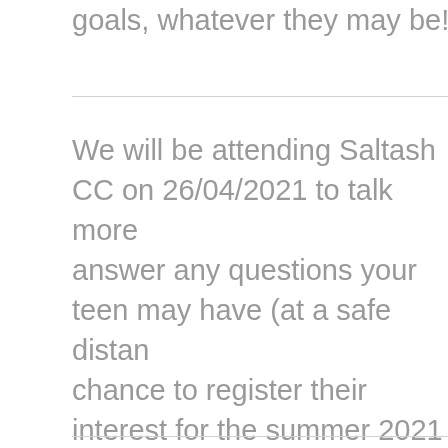goals, whatever they may be! And this year, it's your teen's
We will be attending Saltash CC on 26/04/2021 to talk more answer any questions your teen may have (at a safe distance) chance to register their interest for the summer 2021 programme.
If your teen does want to register their interest in taking part, ask them to share your contact details. This is so that we can contact required to get them signed up to a programme date. If they do we'll be in touch with you by email or phone to run through booking.
A place on NCS is worth around £1500. However, thanks to programme, we only ask for a contribution of £50 to cover s that everyone can do NCS so there are bursaries available